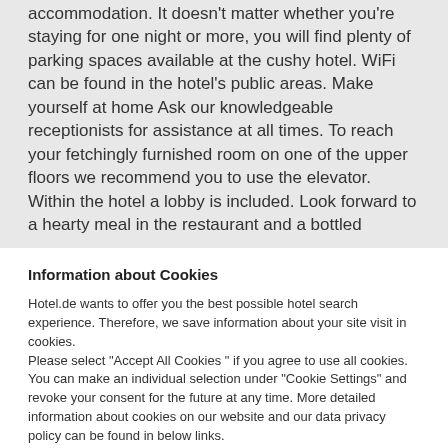accommodation. It doesn't matter whether you're staying for one night or more, you will find plenty of parking spaces available at the cushy hotel. WiFi can be found in the hotel's public areas. Make yourself at home Ask our knowledgeable receptionists for assistance at all times. To reach your fetchingly furnished room on one of the upper floors we recommend you to use the elevator. Within the hotel a lobby is included. Look forward to a hearty meal in the restaurant and a bottled
Information about Cookies
Hotel.de wants to offer you the best possible hotel search experience. Therefore, we save information about your site visit in cookies.
Please select "Accept All Cookies " if you agree to use all cookies. You can make an individual selection under "Cookie Settings" and revoke your consent for the future at any time. More detailed information about cookies on our website and our data privacy policy can be found in below links.